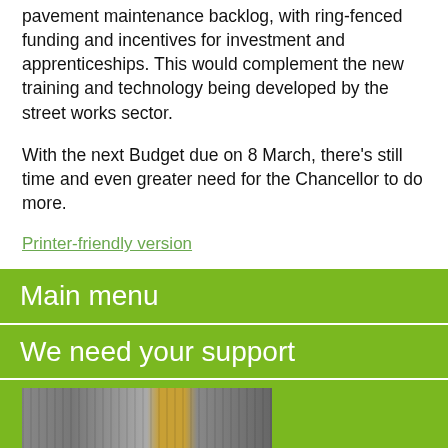pavement maintenance backlog, with ring-fenced funding and incentives for investment and apprenticeships. This would complement the new training and technology being developed by the street works sector.
With the next Budget due on 8 March, there’s still time and even greater need for the Chancellor to do more.
Printer-friendly version
Main menu
We need your support
[Figure (photo): Photo of pavement or street works scene]